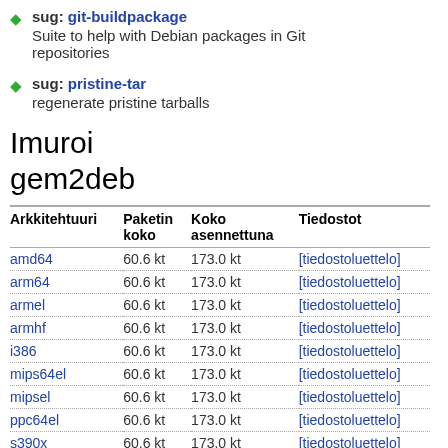sug: git-buildpackage — Suite to help with Debian packages in Git repositories
sug: pristine-tar — regenerate pristine tarballs
Imuroi gem2deb
| Arkkitehtuuri | Paketin koko | Koko asennettuna | Tiedostot |
| --- | --- | --- | --- |
| amd64 | 60.6 kt | 173.0 kt | [tiedostoluettelo] |
| arm64 | 60.6 kt | 173.0 kt | [tiedostoluettelo] |
| armel | 60.6 kt | 173.0 kt | [tiedostoluettelo] |
| armhf | 60.6 kt | 173.0 kt | [tiedostoluettelo] |
| i386 | 60.6 kt | 173.0 kt | [tiedostoluettelo] |
| mips64el | 60.6 kt | 173.0 kt | [tiedostoluettelo] |
| mipsel | 60.6 kt | 173.0 kt | [tiedostoluettelo] |
| ppc64el | 60.6 kt | 173.0 kt | [tiedostoluettelo] |
| s390x | 60.6 kt | 173.0 kt | [tiedostoluettelo] |